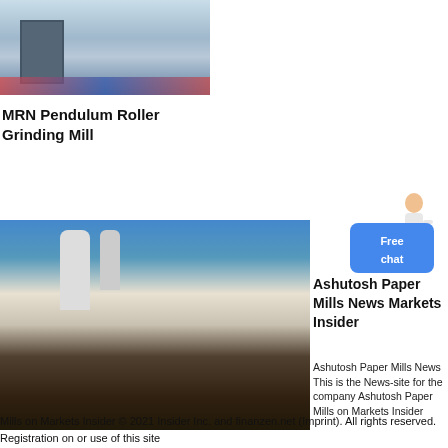[Figure (photo): Industrial grinding mill equipment in a large hall with blue and red platform]
MRN Pendulum Roller Grinding Mill
[Figure (photo): Industrial grinding mill machinery outdoors with large pile of dark rocks/materials in foreground and blue sky background]
[Figure (illustration): Person with free chat widget button overlay]
Ashutosh Paper Mills News Markets Insider
Ashutosh Paper Mills News This is the News-site for the company Ashutosh Paper Mills on Markets Insider
© 2021 Insider Inc. and finanzen.net (Imprint). All rights reserved. Registration on or use of this site